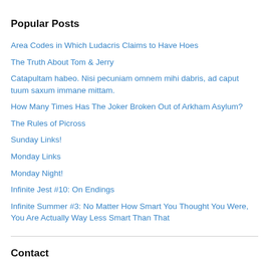Popular Posts
Area Codes in Which Ludacris Claims to Have Hoes
The Truth About Tom & Jerry
Catapultam habeo. Nisi pecuniam omnem mihi dabris, ad caput tuum saxum immane mittam.
How Many Times Has The Joker Broken Out of Arkham Asylum?
The Rules of Picross
Sunday Links!
Monday Links
Monday Night!
Infinite Jest #10: On Endings
Infinite Summer #3: No Matter How Smart You Thought You Were, You Are Actually Way Less Smart Than That
Contact
gerryblog@gmail.com